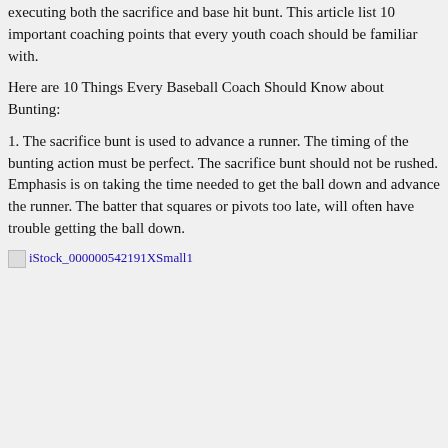executing both the sacrifice and base hit bunt. This article list 10 important coaching points that every youth coach should be familiar with.
Here are 10 Things Every Baseball Coach Should Know about Bunting:
1. The sacrifice bunt is used to advance a runner. The timing of the bunting action must be perfect. The sacrifice bunt should not be rushed. Emphasis is on taking the time needed to get the ball down and advance the runner. The batter that squares or pivots too late, will often have trouble getting the ball down.
[Figure (photo): Broken image placeholder labeled iStock_000000542191XSmall1]
2. There are two timing keys often used; when the pitcher's front foot lands and when the front foot lifts. These timing elements correspond to the quickness of the batter and how close it...